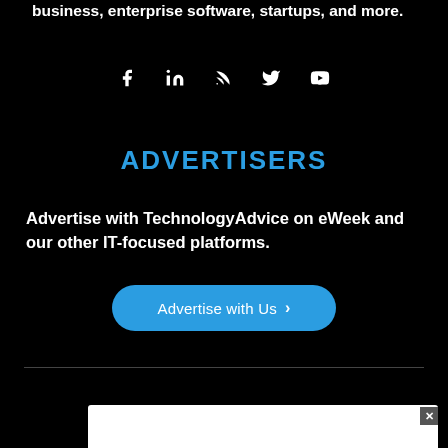business, enterprise software, startups, and more.
[Figure (infographic): Social media icons: Facebook, LinkedIn, RSS, Twitter, YouTube]
ADVERTISERS
Advertise with TechnologyAdvice on eWeek and our other IT-focused platforms.
Advertise with Us >
OUR BRANDS
[Figure (other): White advertisement overlay box with close (x) button]